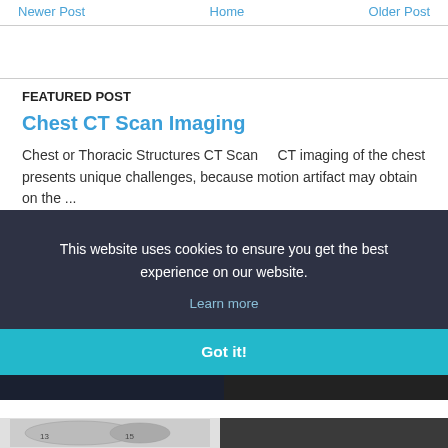Newer Post | Home | Older Post
FEATURED POST
Chest CT Scan Imaging
Chest or Thoracic Structures CT Scan      CT imaging of the chest presents unique challenges, because motion artifact may obtain on the ...
[Figure (screenshot): Cookie consent banner overlay with dark background showing 'This website uses cookies to ensure you get the best experience on our website.' with 'Learn more' link and 'Got it!' button in teal]
[Figure (photo): Partial chest CT scan images visible at bottom of page]